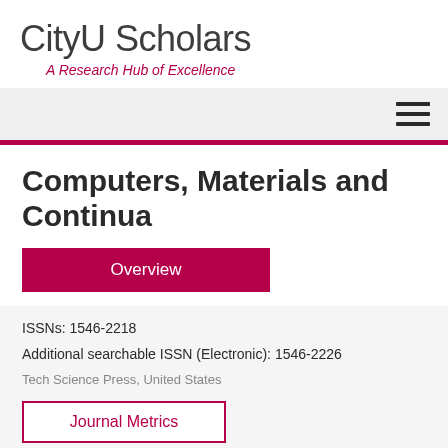CityU Scholars
A Research Hub of Excellence
Computers, Materials and Continua
Overview
ISSNs: 1546-2218
Additional searchable ISSN (Electronic): 1546-2226
Tech Science Press, United States
Journal Metrics